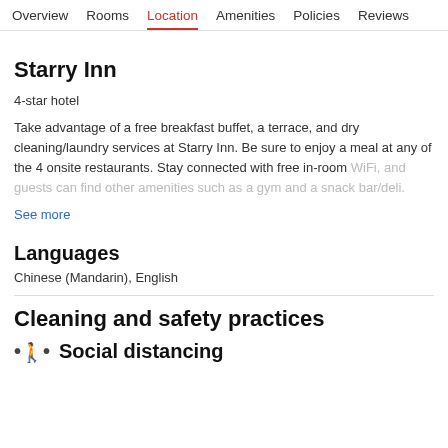Overview  Rooms  Location  Amenities  Policies  Reviews
Starry Inn
4-star hotel
Take advantage of a free breakfast buffet, a terrace, and dry cleaning/laundry services at Starry Inn. Be sure to enjoy a meal at any of the 4 onsite restaurants. Stay connected with free in-room WiFi, and guests can find other amenities such as a gym and a snack bar/deli.
See more
Languages
Chinese (Mandarin), English
Cleaning and safety practices
Social distancing